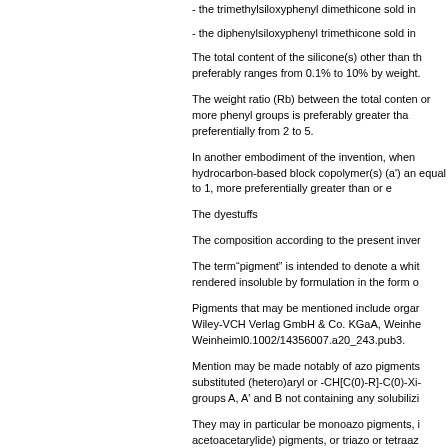- the trimethylsiloxyphenyl dimethicone sold in
- the diphenylsiloxyphenyl trimethicone sold in
The total content of the silicone(s) other than th preferably ranges from 0.1% to 10% by weight.
The weight ratio (Rb) between the total conten or more phenyl groups is preferably greater tha preferentially from 2 to 5.
In another embodiment of the invention, when hydrocarbon-based block copolymer(s) (a') an equal to 1, more preferentially greater than or e
The dyestuffs
The composition according to the present inver
The term“pigment” is intended to denote a whit rendered insoluble by formulation in the form o
Pigments that may be mentioned include orgar Wiley-VCH Verlag GmbH & Co. KGaA, Weinhe Weinheiml0.1002/14356007.a20_243.pub3.
Mention may be made notably of azo pigments substituted (hetero)aryl or -CH[C(0)-R]-C(0)-Xi- groups A, A' and B not containing any solubilizi
They may in particular be monoazo pigments, i acetoacetarylide) pigments, or triazo or tetraaz